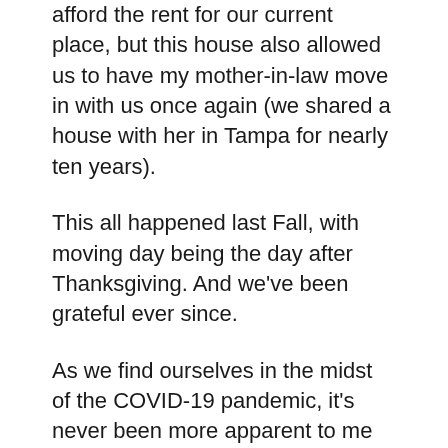afford the rent for our current place, but this house also allowed us to have my mother-in-law move in with us once again (we shared a house with her in Tampa for nearly ten years).
This all happened last Fall, with moving day being the day after Thanksgiving. And we've been grateful ever since.
As we find ourselves in the midst of the COVID-19 pandemic, it's never been more apparent to me how God was working back then to position us now to be better safeguarded from this virus. Weeks before the outbreak first began in Wuhan, China, we were dealing with movers and utility companies and sore backs. Months before we had any realization of what the phrase 'novel coronavirus' meant, our focus was on furniture